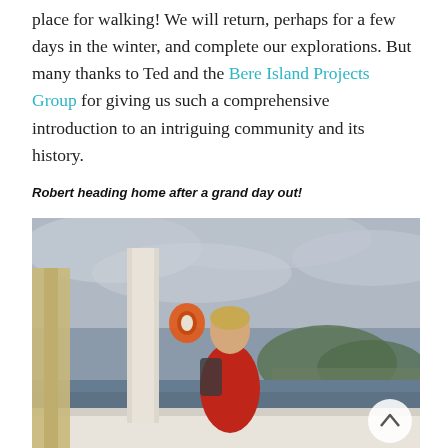place for walking! We will return, perhaps for a few days in the winter, and complete our explorations. But many thanks to Ted and the Bere Island Projects Group for giving us such a comprehensive introduction to an intriguing community and its history.
Robert heading home after a grand day out!
[Figure (photo): A man in a red jacket with a backpack stands on the deck of a ferry boat, with a cloudy sky, grey water, and a green hillside visible in the background.]